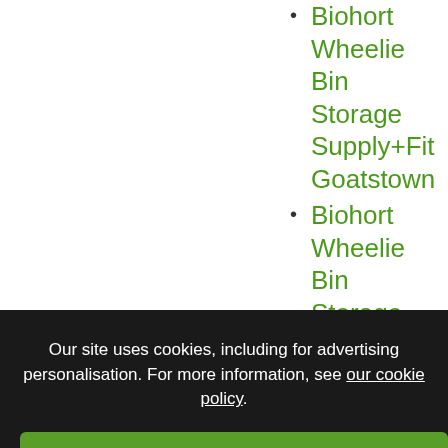Biohort Wheelie Bin Storage Supply+Fit Goatstown
Biohort Wheelie Bin Storage Unit
BiohortAvantGarde Sheds
Box Tiles
Boxwood Hedges
Boxwood Hedging
Boxwood Tiles
Buy Biohort at Owen
Buy Biohort
Our site uses cookies, including for advertising personalisation. For more information, see our cookie policy.
Accept cookies and close
Reject cookies
Manage settings